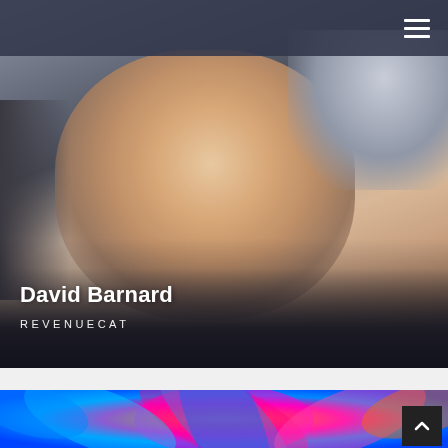[Figure (photo): Navigation bar with dark semi-transparent background and hamburger menu icon in top right]
[Figure (photo): Portrait photo of David Barnard, a man with short light hair, blue eyes, and a beard wearing a black shirt, with blurred background]
David Barnard
REVENUECAT
[Figure (photo): Colorful abstract flower/mandala image with bright blue, pink, magenta, and yellow colors at bottom of page]